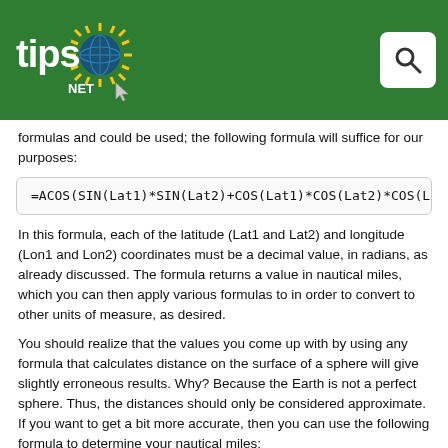tips.NET logo with search button
formulas and could be used; the following formula will suffice for our purposes:
In this formula, each of the latitude (Lat1 and Lat2) and longitude (Lon1 and Lon2) coordinates must be a decimal value, in radians, as already discussed. The formula returns a value in nautical miles, which you can then apply various formulas to in order to convert to other units of measure, as desired.
You should realize that the values you come up with by using any formula that calculates distance on the surface of a sphere will give slightly erroneous results. Why? Because the Earth is not a perfect sphere. Thus, the distances should only be considered approximate. If you want to get a bit more accurate, then you can use the following formula to determine your nautical miles: